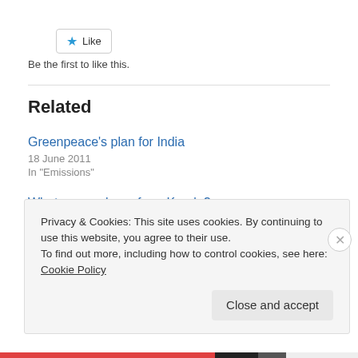[Figure (other): Like button with star icon]
Be the first to like this.
Related
Greenpeace's plan for India
18 June 2011
In "Emissions"
What can we learn from Kerala?
24 January 2015
In "GR"
Privacy & Cookies: This site uses cookies. By continuing to use this website, you agree to their use.
To find out more, including how to control cookies, see here: Cookie Policy
Close and accept